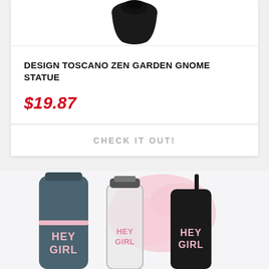[Figure (photo): Top portion of a dark/black gnome statue cropped at the top of the card]
DESIGN TOSCANO ZEN GARDEN GNOME STATUE
$19.87
CHECK IT OUT!
[Figure (photo): Three Hey Girl branded drink bottles/tumblers on a pink and white background - a dark grey thermos, a clear glass bottle, and a black tumbler with straw, all labeled HEY GIRL]